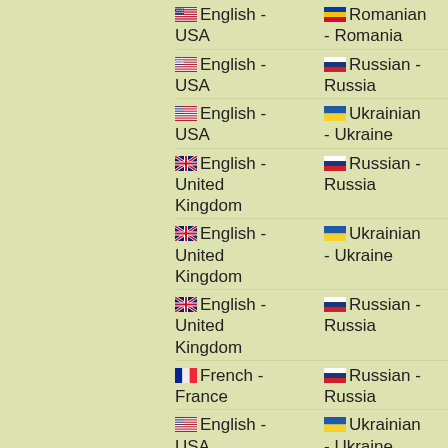English - USA | Romanian - Romania | Tea
English - USA | Russian - Russia | Essential
English - USA | Ukrainian - Ukraine | Insulation
English - United Kingdom | Russian - Russia | Good
English - United Kingdom | Ukrainian - Ukraine | December
English - United Kingdom | Russian - Russia | Lawyer
French - France | Russian - Russia | Sein
English - USA | Ukrainian - Ukraine | Lock
English - United Kingdom | Polish - Poland | Grade
English - United Kingdom | English - USA | Lawyer